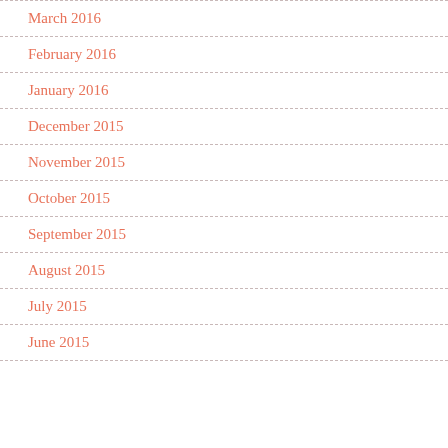March 2016
February 2016
January 2016
December 2015
November 2015
October 2015
September 2015
August 2015
July 2015
June 2015